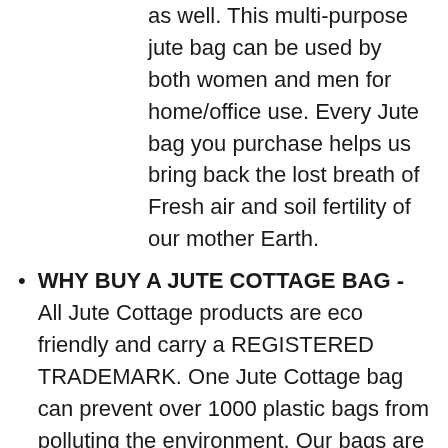as well. This multi-purpose jute bag can be used by both women and men for home/office use. Every Jute bag you purchase helps us bring back the lost breath of Fresh air and soil fertility of our mother Earth.
WHY BUY A JUTE COTTAGE BAG - All Jute Cottage products are eco friendly and carry a REGISTERED TRADEMARK. One Jute Cottage bag can prevent over 1000 plastic bags from polluting the environment. Our bags are functional, trendy, fashionable, reusable, and of course - cute. Excellent stitch quality | Premium raw-materials used | Durable and lightweight | 100% bio-degradable |